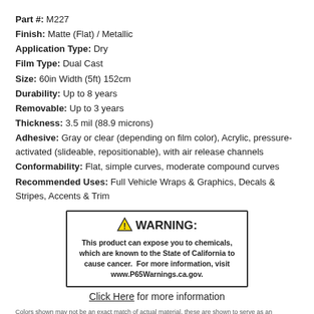Part #: M227
Finish: Matte (Flat) / Metallic
Application Type: Dry
Film Type: Dual Cast
Size: 60in Width (5ft) 152cm
Durability: Up to 8 years
Removable: Up to 3 years
Thickness: 3.5 mil (88.9 microns)
Adhesive: Gray or clear (depending on film color), Acrylic, pressure-activated (slideable, repositionable), with air release channels
Conformability: Flat, simple curves, moderate compound curves
Recommended Uses: Full Vehicle Wraps & Graphics, Decals & Stripes, Accents & Trim
[Figure (infographic): WARNING box with triangle warning symbol stating: This product can expose you to chemicals, which are known to the State of California to cause cancer. For more information, visit www.P65Warnings.ca.gov.]
Click Here for more information
Colors shown may not be an exact match of actual material, these are shown to serve as an